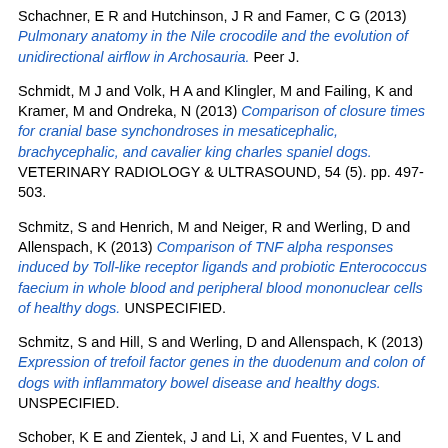Schachner, E R and Hutchinson, J R and Famer, C G (2013) Pulmonary anatomy in the Nile crocodile and the evolution of unidirectional airflow in Archosauria. Peer J.
Schmidt, M J and Volk, H A and Klingler, M and Failing, K and Kramer, M and Ondreka, N (2013) Comparison of closure times for cranial base synchondroses in mesaticephalic, brachycephalic, and cavalier king charles spaniel dogs. VETERINARY RADIOLOGY & ULTRASOUND, 54 (5). pp. 497-503.
Schmitz, S and Henrich, M and Neiger, R and Werling, D and Allenspach, K (2013) Comparison of TNF alpha responses induced by Toll-like receptor ligands and probiotic Enterococcus faecium in whole blood and peripheral blood mononuclear cells of healthy dogs. UNSPECIFIED.
Schmitz, S and Hill, S and Werling, D and Allenspach, K (2013) Expression of trefoil factor genes in the duodenum and colon of dogs with inflammatory bowel disease and healthy dogs. UNSPECIFIED.
Schober, K E and Zientek, J and Li, X and Fuentes, V L and Bonagura, J D (2013) Effect of treatment with atenolol on 5-year survival in cats with preclinical (asymptomatic) hypertrophic